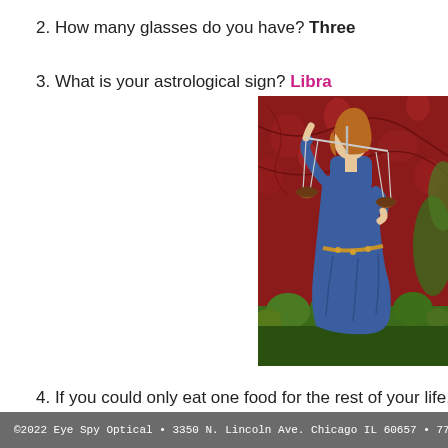2. How many glasses do you have? Three
3. What is your astrological sign? Libra
[Figure (photo): Medieval painting of a woman in a blue dress holding scales of justice (Libra symbol), set against a red floral background with green foliage at the bottom.]
4. If you could only eat one food for the rest of your life, what would that f
[Figure (photo): Partial photo strip showing a blurry close-up image, mostly gray tones with some purple/pink.]
©2022 Eye Spy Optical • 3350 N. Lincoln Ave. Chicago IL 60657 • 773.477.26